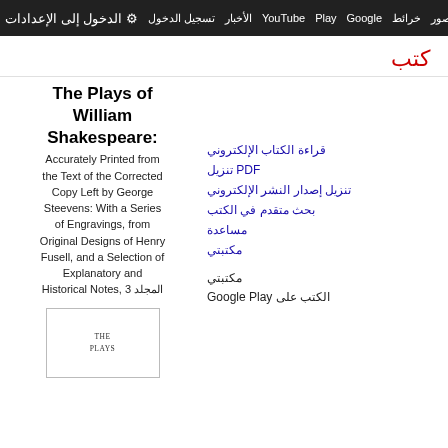بحث صور خرائط Google Play YouTube الأخبار تسجيل الدخول الدخول إلى الإعدادات
كتب
The Plays of William Shakespeare: Accurately Printed from the Text of the Corrected Copy Left by George Steevens: With a Series of Engravings, from Original Designs of Henry Fusell, and a Selection of Explanatory and Historical Notes, المجلد 3
قراءة الكتاب الإلكتروني
تنزيل PDF
تنزيل إصدار النشر الإلكتروني
بحث متقدم في الكتب
مساعدة
مكتبتي
مكتبتي
الكتب على Google Play
[Figure (illustration): Small book cover thumbnail showing 'THE PLAYS' text at top of an old book cover]